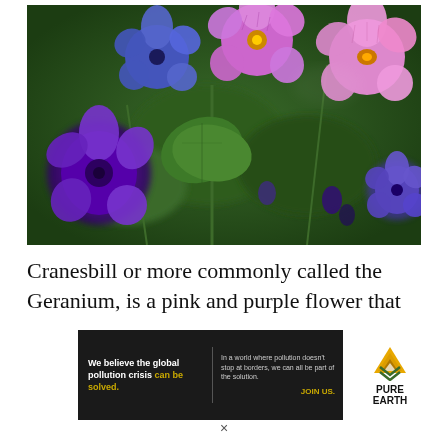[Figure (photo): Close-up photo of purple and pink Cranesbill geranium flowers with green leaves on a blurred green background]
Cranesbill or more commonly called the Geranium, is a pink and purple flower that
[Figure (other): Advertisement banner: 'We believe the global pollution crisis can be solved. In a world where pollution doesn't stop at borders, we can all be part of the solution. JOIN US.' with Pure Earth logo]
×